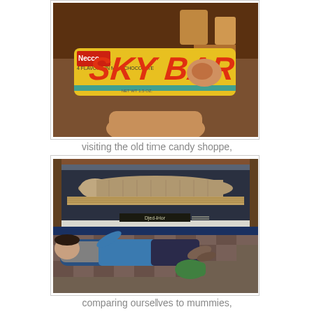[Figure (photo): A hand holding a Necco Sky Bar chocolate candy bar with yellow wrapper featuring red SKY BAR logo text, shown against a cluttered background]
visiting the old time candy shoppe,
[Figure (photo): A person lying on the floor of a museum next to a display case containing a mummy (labeled Djed-Hor), mimicking the mummy's pose]
comparing ourselves to mummies,